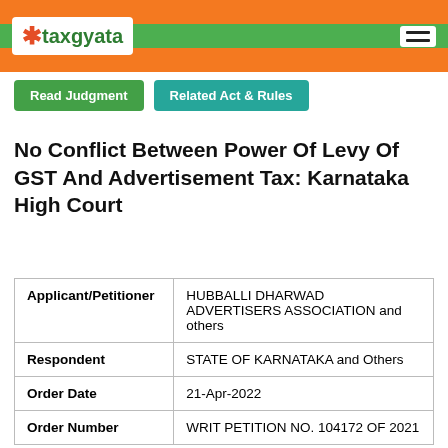taxgyata
Read Judgment | Related Act & Rules
No Conflict Between Power Of Levy Of GST And Advertisement Tax: Karnataka High Court
| Field | Value |
| --- | --- |
| Applicant/Petitioner | HUBBALLI DHARWAD ADVERTISERS ASSOCIATION and others |
| Respondent | STATE OF KARNATAKA and Others |
| Order Date | 21-Apr-2022 |
| Order Number | WRIT PETITION NO. 104172 OF 2021 |